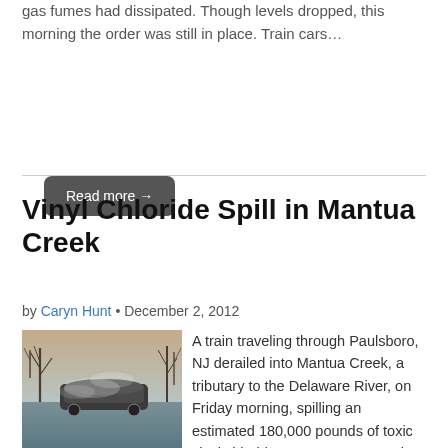gas fumes had dissipated. Though levels dropped, this morning the order was still in place. Train cars…
Read more →
Vinyl Chloride Spill in Mantua Creek
by Caryn Hunt • December 2, 2012
[Figure (photo): Photo of derailed train car in creek with misty fumes and bare winter trees in background]
A train traveling through Paulsboro, NJ derailed into Mantua Creek, a tributary to the Delaware River, on Friday morning, spilling an estimated 180,000 pounds of toxic vinyl chloride. Seventy one people effected by the fumes sought